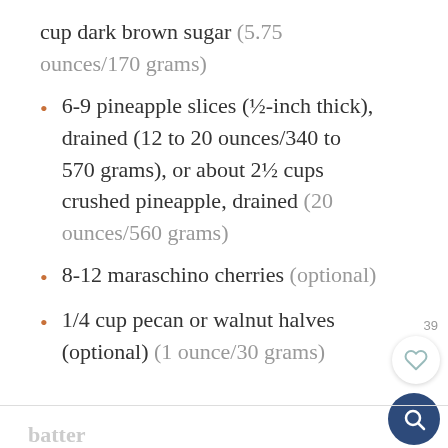cup dark brown sugar (5.75 ounces/170 grams)
6-9 pineapple slices (½-inch thick), drained (12 to 20 ounces/340 to 570 grams), or about 2½ cups crushed pineapple, drained (20 ounces/560 grams)
8-12 maraschino cherries (optional)
1/4 cup pecan or walnut halves (optional) (1 ounce/30 grams)
batter